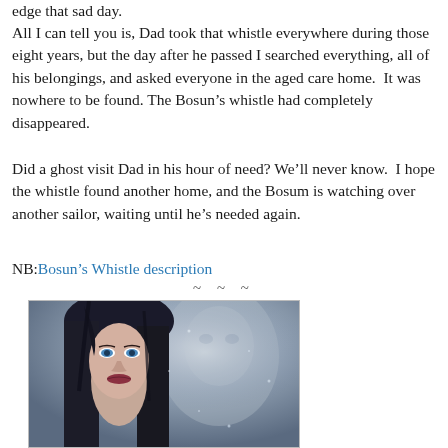edge that sad day.
All I can tell you is, Dad took that whistle everywhere during those eight years, but the day after he passed I searched everything, all of his belongings, and asked everyone in the aged care home.  It was nowhere to be found. The Bosun’s whistle had completely disappeared.
Did a ghost visit Dad in his hour of need? We’ll never know.  I hope the whistle found another home, and the Bosum is watching over another sailor, waiting until he’s needed again.
NB: Bosun’s Whistle description
~ ~ ~
[Figure (photo): A dark-haired woman with blue eyes looking forward, with a faded ghostly male face visible in the misty background. Atmospheric, paranormal/romance style book cover image.]